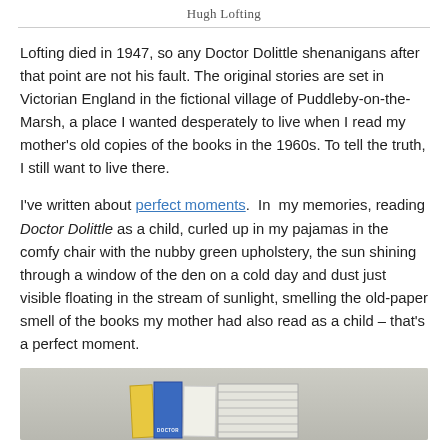Hugh Lofting
Lofting died in 1947, so any Doctor Dolittle shenanigans after that point are not his fault. The original stories are set in Victorian England in the fictional village of Puddleby-on-the-Marsh, a place I wanted desperately to live when I read my mother's old copies of the books in the 1960s. To tell the truth, I still want to live there.
I've written about perfect moments. In my memories, reading Doctor Dolittle as a child, curled up in my pajamas in the comfy chair with the nubby green upholstery, the sun shining through a window of the den on a cold day and dust just visible floating in the stream of sunlight, smelling the old-paper smell of the books my mother had also read as a child – that's a perfect moment.
[Figure (photo): Row of old Doctor Dolittle books by Hugh Lofting, shown from the side/spine, including a yellow book, a blue book labeled DOCTOR, a white book, and a striped book, resting on a light surface.]